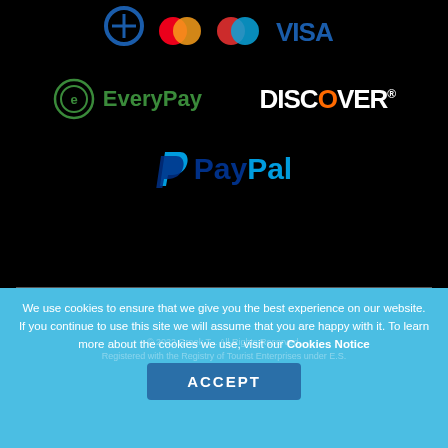[Figure (logo): Payment logos on black background: partial logos at top (Verified, Mastercard, another card, Visa), EveryPay, Discover, PayPal]
We use cookies to ensure that we give you the best experience on our website. If you continue to use this site we will assume that you are happy with it. To learn more about the cookies we use, visit our Cookies Notice
ACCEPT